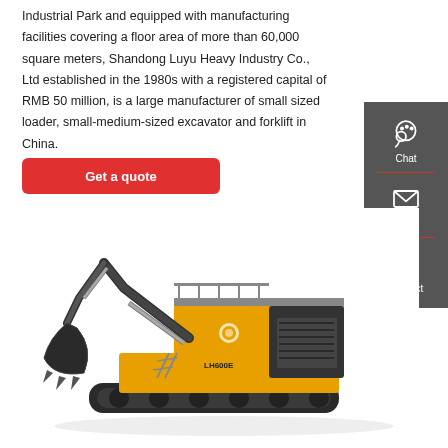Industrial Park and equipped with manufacturing facilities covering a floor area of more than 60,000 square meters, Shandong Luyu Heavy Industry Co., Ltd established in the 1980s with a registered capital of RMB 50 million, is a large manufacturer of small sized loader, small-medium-sized excavator and forklift in China.
Get a quote
[Figure (infographic): Dark grey sidebar with three contact icons and labels: Chat (headset icon), Email (envelope icon), Contact (speech bubble with dots icon), separated by red horizontal dividers.]
[Figure (photo): Large yellow and black industrial excavator/mining shovel machine on tracks, facing left, with a large front bucket attachment.]